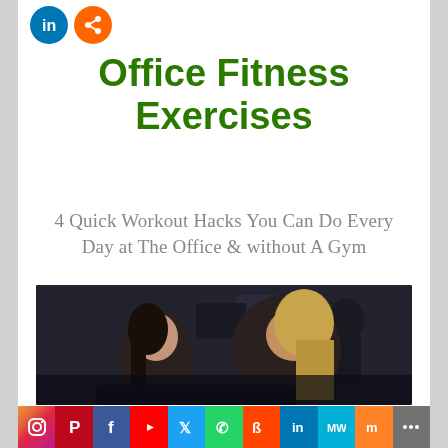[Figure (logo): Two circular social share buttons — LinkedIn (blue) and a share/forward (orange) — in the top left area]
Office Fitness Exercises
4 Quick Workout Hacks You Can Do Every Day at The Office & without A Gym
[Figure (photo): Two women at a computer in a dark office environment, one brunette seated looking at screen, one blonde leaning over looking at screen]
Instagram  Pinterest  Facebook  YouTube  Twitter  WhatsApp  Reddit  LinkedIn  MeWe  Mix  Share